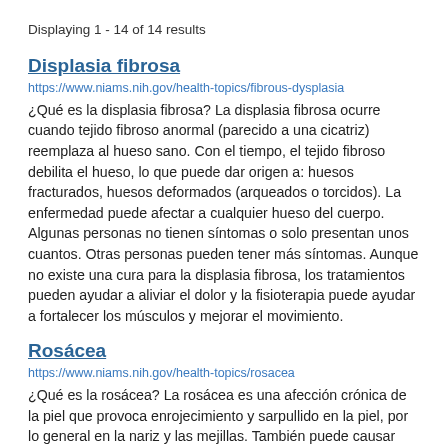Displaying 1 - 14 of 14 results
Displasia fibrosa
https://www.niams.nih.gov/health-topics/fibrous-dysplasia
¿Qué es la displasia fibrosa? La displasia fibrosa ocurre cuando tejido fibroso anormal (parecido a una cicatriz) reemplaza al hueso sano. Con el tiempo, el tejido fibroso debilita el hueso, lo que puede dar origen a: huesos fracturados, huesos deformados (arqueados o torcidos). La enfermedad puede afectar a cualquier hueso del cuerpo. Algunas personas no tienen síntomas o solo presentan unos cuantos. Otras personas pueden tener más síntomas. Aunque no existe una cura para la displasia fibrosa, los tratamientos pueden ayudar a aliviar el dolor y la fisioterapia puede ayudar a fortalecer los músculos y mejorar el movimiento.
Rosácea
https://www.niams.nih.gov/health-topics/rosacea
¿Qué es la rosácea? La rosácea es una afección crónica de la piel que provoca enrojecimiento y sarpullido en la piel, por lo general en la nariz y las mejillas. También puede causar problemas en los ojos.